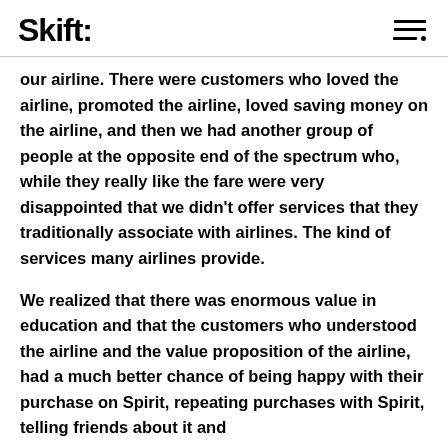Skift
our airline. There were customers who loved the airline, promoted the airline, loved saving money on the airline, and then we had another group of people at the opposite end of the spectrum who, while they really like the fare were very disappointed that we didn't offer services that they traditionally associate with airlines. The kind of services many airlines provide.

We realized that there was enormous value in education and that the customers who understood the airline and the value proposition of the airline, had a much better chance of being happy with their purchase on Spirit, repeating purchases with Spirit, telling friends about it and